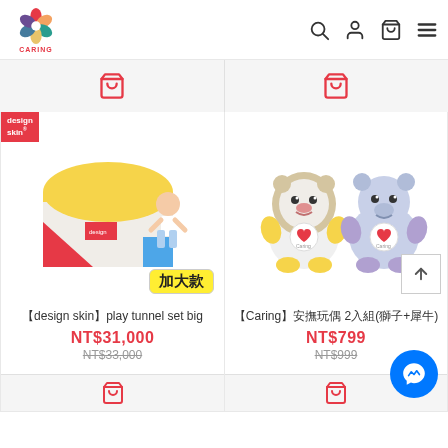[Figure (logo): Caring brand logo with colorful flower and brand name]
[Figure (screenshot): Shopping cart icon row (partial previous products)]
[Figure (photo): Design skin play tunnel set big product image with child, with 加大款 badge]
【design skin】play tunnel set big
NT$31,000
NT$33,000
[Figure (photo): Caring brand two soft animal plush toy dolls (lion and hippo)]
【Caring】安撫玩偶 2入組(獅子+犀牛)
NT$799
NT$999